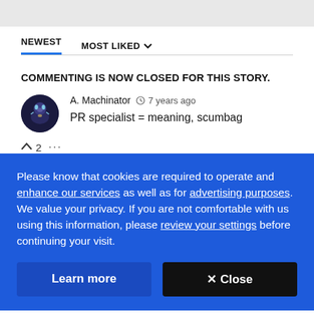NEWEST  MOST LIKED
COMMENTING IS NOW CLOSED FOR THIS STORY.
A. Machinator  7 years ago
PR specialist = meaning, scumbag
^ 2  ...
Please know that cookies are required to operate and enhance our services as well as for advertising purposes. We value your privacy. If you are not comfortable with us using this information, please review your settings before continuing your visit.
Learn more   X Close